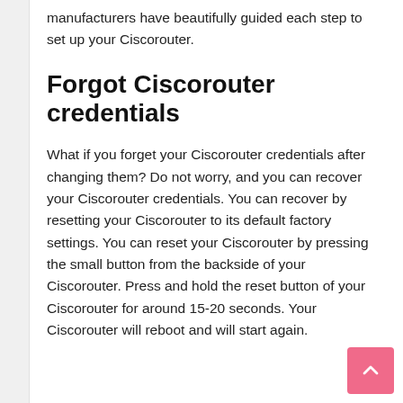manufacturers have beautifully guided each step to set up your Ciscorouter.
Forgot Ciscorouter credentials
What if you forget your Ciscorouter credentials after changing them? Do not worry, and you can recover your Ciscorouter credentials. You can recover by resetting your Ciscorouter to its default factory settings. You can reset your Ciscorouter by pressing the small button from the backside of your Ciscorouter. Press and hold the reset button of your Ciscorouter for around 15-20 seconds. Your Ciscorouter will reboot and will start again.